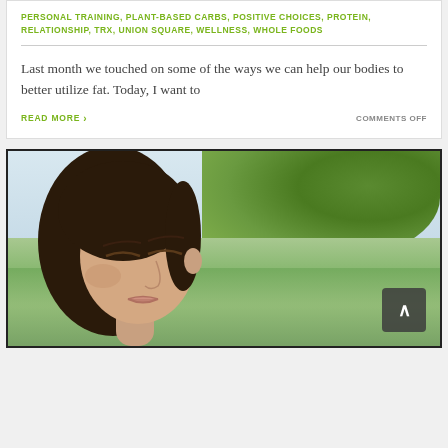PERSONAL TRAINING, PLANT-BASED CARBS, POSITIVE CHOICES, PROTEIN, RELATIONSHIP, TRX, UNION SQUARE, WELLNESS, WHOLE FOODS
Last month we touched on some of the ways we can help our bodies to better utilize fat. Today, I want to
READ MORE >
COMMENTS OFF
[Figure (photo): Woman with eyes closed relaxing outdoors near water with green trees in background, and a scroll-to-top button overlay in the bottom right corner]